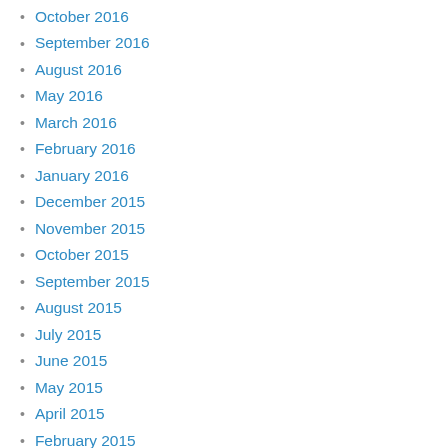October 2016
September 2016
August 2016
May 2016
March 2016
February 2016
January 2016
December 2015
November 2015
October 2015
September 2015
August 2015
July 2015
June 2015
May 2015
April 2015
February 2015
January 2015
December 2014
November 2014
October 2014
August 2014
Remember my p
Notify me of follo
Submit the word you
[Figure (other): CAPTCHA image showing text 'sure14']
Next entry: Finding th
Previous entry: Three